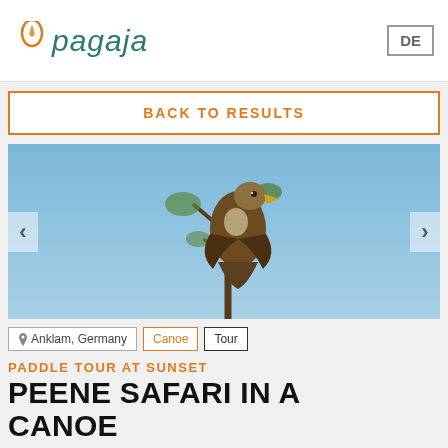pagaja | DE
BACK TO RESULTS
[Figure (photo): A large bird of prey (eagle) perched on a bare tree branch against a blue sky, with green foliage visible. Carousel navigation arrows on left and right sides.]
Anklam, Germany  Canoe  Tour
PADDLE TOUR AT SUNSET
PEENE SAFARI IN A CANOE